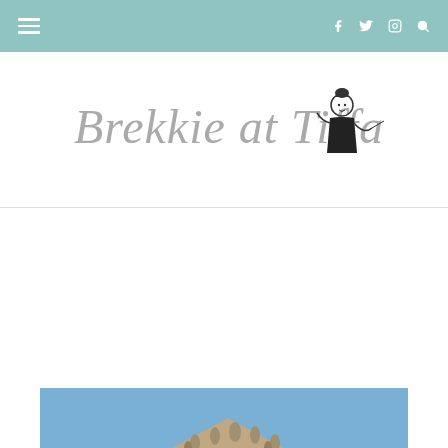Navigation bar with hamburger menu and icons: Facebook, Twitter, Instagram, Search
[Figure (logo): Brekkie at Tiffany's blog logo with script text and illustrated figure of a woman in black dress]
PLACES
EASTER IN MADRID
Posted on March 31, 2016
[Figure (photo): Photo of a historic building with classical architecture against a blue sky, appears to be in Madrid]